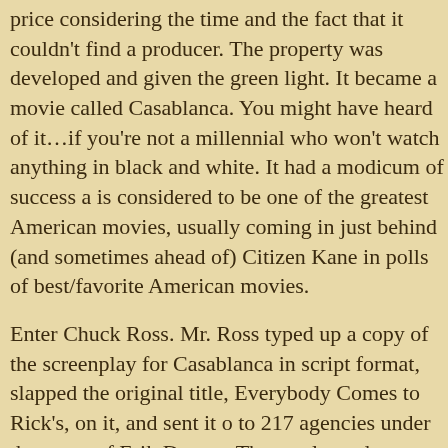price considering the time and the fact that it couldn't find a producer. The property was developed and given the green light. It became a movie called Casablanca. You might have heard of it…if you're not a millennial who won't watch anything in black and white. It had a modicum of success and is considered to be one of the greatest American movies, usually coming in just behind (and sometimes ahead of) Citizen Kane in polls of best/favorite American movies.
Enter Chuck Ross. Mr. Ross typed up a copy of the screenplay for Casablanca in script format, slapped the original title, Everybody Comes to Rick's, on it, and sent it out to 217 agencies under the name of Erik Demos. The results and responses were interesting to say the least. Several of were returned unread to Ross with the standard reasons: they or wouldn't read unsolicited manuscripts, etc.
However, almost three dozen agencies recognized the script with fun responses, such as "Unfortunately I've seen this picture" said something to the effect that he'd like to do it but most o